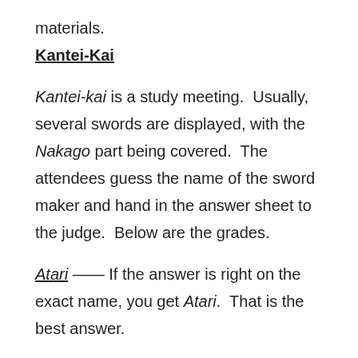materials.
Kantei-Kai
Kantei-kai is a study meeting.  Usually, several swords are displayed, with the Nakago part being covered.  The attendees guess the name of the sword maker and hand in the answer sheet to the judge.  Below are the grades.
Atari — If the answer is right on the exact name, you get Atari.  That is the best answer.